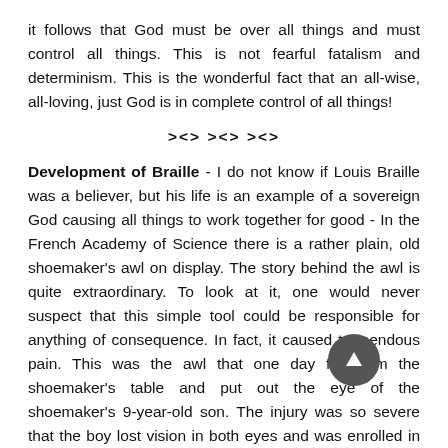it follows that God must be over all things and must control all things. This is not fearful fatalism and determinism. This is the wonderful fact that an all-wise, all-loving, just God is in complete control of all things!
><> ><> ><>
Development of Braille - I do not know if Louis Braille was a believer, but his life is an example of a sovereign God causing all things to work together for good - In the French Academy of Science there is a rather plain, old shoemaker's awl on display. The story behind the awl is quite extraordinary. To look at it, one would never suspect that this simple tool could be responsible for anything of consequence. In fact, it caused tremendous pain. This was the awl that one day fell from the shoemaker's table and put out the eye of the shoemaker's 9-year-old son. The injury was so severe that the boy lost vision in both eyes and was enrolled in a special school for children who were blind. The boy learned to read by handling large, carved-wood blocks. When the shoemaker's son became an